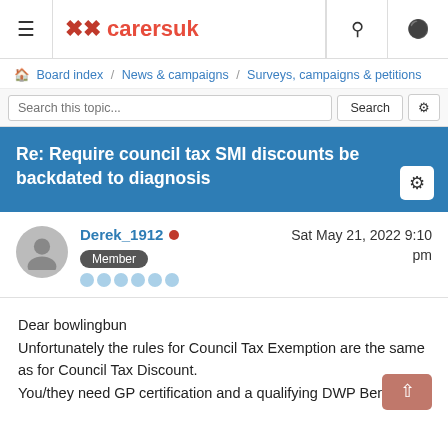carersuk — navigation bar with hamburger, logo, search and user icons
Board index / News & campaigns / Surveys, campaigns & petitions
Re: Require council tax SMI discounts be backdated to diagnosis
Derek_1912 • Sat May 21, 2022 9:10 pm
Member
Dear bowlingbun
Unfortunately the rules for Council Tax Exemption are the same as for Council Tax Discount.
You/they need GP certification and a qualifying DWP Benefit.